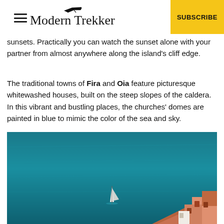Modern Trekker | SUBSCRIBE
sunsets.  Practically you can watch the sunset alone with your partner from almost anywhere along the island's cliff edge.
The traditional towns of Fira and Oia feature picturesque whitewashed houses, built on the steep slopes of the caldera.  In this vibrant and bustling places, the churches' domes are painted in blue to mimic the color of the sea and sky.
[Figure (photo): Aerial view of deep teal sea with a white sailboat, and terracotta/orange cliff-side buildings of Santorini in the bottom-right corner]